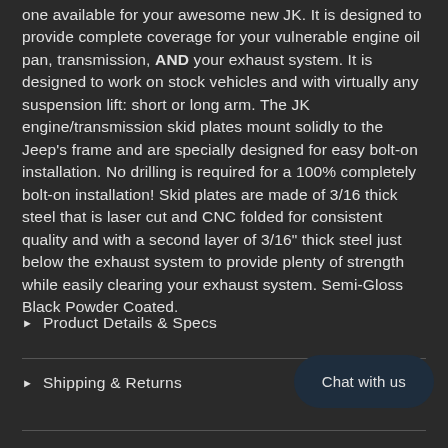one available for your awesome new JK. It is designed to provide complete coverage for your vulnerable engine oil pan, transmission, AND your exhaust system. It is designed to work on stock vehicles and with virtually any suspension lift: short or long arm. The JK engine/transmission skid plates mount solidly to the Jeep's frame and are specially designed for easy bolt-on installation. No drilling is required for a 100% completely bolt-on installation! Skid plates are made of 3/16 thick steel that is laser cut and CNC folded for consistent quality and with a second layer of 3/16" thick steel just below the exhaust system to provide plenty of strength while easily clearing your exhaust system. Semi-Gloss Black Powder Coated.
Product Details & Specs
Shipping & Returns